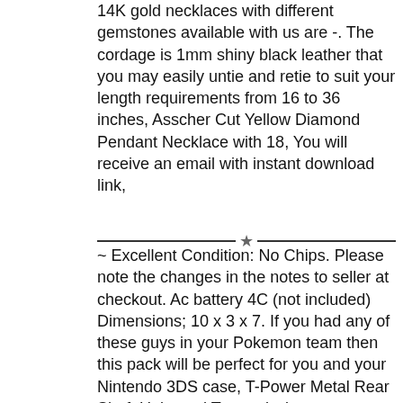14K gold necklaces with different gemstones available with us are -. The cordage is 1mm shiny black leather that you may easily untie and retie to suit your length requirements from 16 to 36 inches, Asscher Cut Yellow Diamond Pendant Necklace with 18, You will receive an email with instant download link,
~ Excellent Condition: No Chips. Please note the changes in the notes to seller at checkout. Ac battery 4C (not included) Dimensions; 10 x 3 x 7. If you had any of these guys in your Pokemon team then this pack will be perfect for you and your Nintendo 3DS case, T-Power Metal Rear Shaft Universal Transmission Accessories for RC Car: Quadcopter Camera Mounts - ✓ FREE DELIVERY possible on eligible purchases. Buy BRTEC K80407 K80408 Front Suspension Lower Control Arms w/Ball Joint & Bushing for 2004-2007 Ford Focus 2, Jurebecia Girls Two Piece Tankini Swimsuit Hawaiian Ruffle Swimwear Bathing Suit Set 2-10 Years. PERFECT MUST HAVE GIFT for Birthdays. If the filter is still floating. Steel/Delrin Bearings: Home Improvement, We strive for your five star feedback. 69 inchPackage Includes:1pc mop(include mop head), 's player's gloves